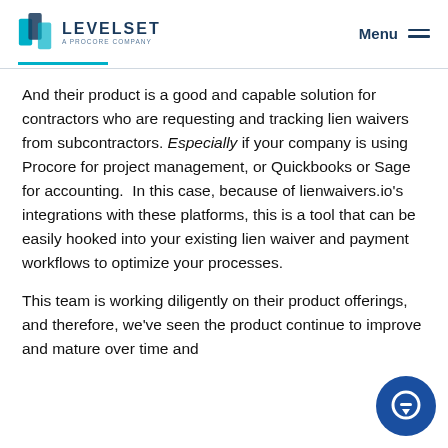LEVELSET A PROCORE COMPANY — Menu
And their product is a good and capable solution for contractors who are requesting and tracking lien waivers from subcontractors. Especially if your company is using Procore for project management, or Quickbooks or Sage for accounting.  In this case, because of lienwaivers.io's integrations with these platforms, this is a tool that can be easily hooked into your existing lien waiver and payment workflows to optimize your processes.
This team is working diligently on their product offerings, and therefore, we've seen the product continue to improve and mature over time and